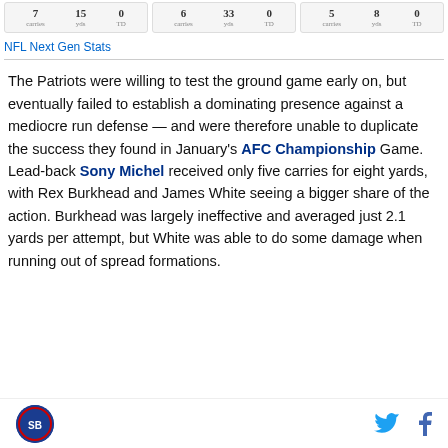[Figure (infographic): Three stat cards showing rushing stats: Card 1: 7 carries, 15 yds, 0 TD; Card 2: 6 carries, 33 yds, 0 TD; Card 3: 5 carries, 8 yds, 0 TD]
NFL Next Gen Stats
The Patriots were willing to test the ground game early on, but eventually failed to establish a dominating presence against a mediocre run defense — and were therefore unable to duplicate the success they found in January's AFC Championship Game. Lead-back Sony Michel received only five carries for eight yards, with Rex Burkhead and James White seeing a bigger share of the action. Burkhead was largely ineffective and averaged just 2.1 yards per attempt, but White was able to do some damage when running out of spread formations.
SB Nation logo, Twitter icon, Facebook icon